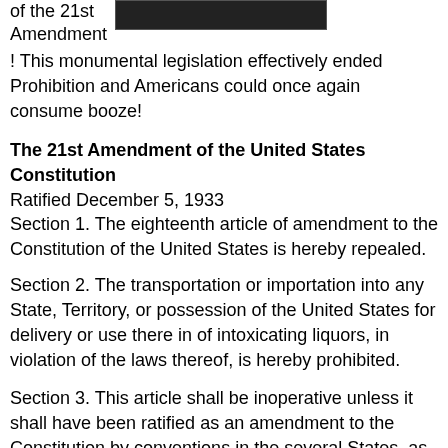of the 21st Amendment
[Figure (photo): Black and white historical photograph, partially visible at top of page]
! This monumental legislation effectively ended Prohibition and Americans could once again consume booze!
The 21st Amendment of the United States Constitution
Ratified December 5, 1933
Section 1. The eighteenth article of amendment to the Constitution of the United States is hereby repealed.
Section 2. The transportation or importation into any State, Territory, or possession of the United States for delivery or use there in of intoxicating liquors, in violation of the laws thereof, is hereby prohibited.
Section 3. This article shall be inoperative unless it shall have been ratified as an amendment to the Constitution by conventions in the several States, as provided in the Constitution, within seven years from the date of the submission hereof to the States by the Congress.
It is also Loungerati's first birthday! So the New York chapter b... celebrations...